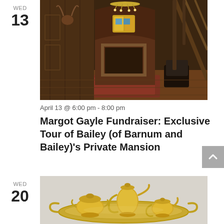WED 13
[Figure (photo): Interior of a Victorian mansion showing dark wood paneling, ornate staircase, arched doorway with stained glass window, chandelier, and antique furniture]
April 13 @ 6:00 pm - 8:00 pm
Margot Gayle Fundraiser: Exclusive Tour of Bailey (of Barnum and Bailey)'s Private Mansion
WED 20
[Figure (photo): Gold-plated tea service set consisting of a tall coffee/tea pot, sugar bowl, creamer, and an ornate oval serving tray, photographed on a gray background]